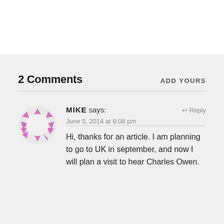2 Comments
ADD YOURS
[Figure (illustration): Circular avatar icon made of pink/magenta triangles arranged in a ring on a light gray circle background]
MIKE says: June 5, 2014 at 8:08 pm
↩ Reply
Hi, thanks for an article. I am planning to go to UK in september, and now I will plan a visit to hear Charles Owen.